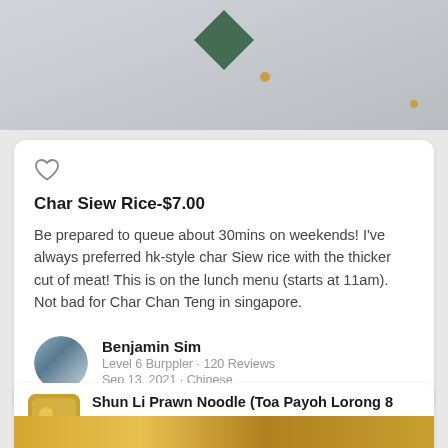[Figure (photo): Top portion of a food photo showing a white plate, a green diamond-shaped garnish, and small gold/yellow decorative elements on a light background]
Char Siew Rice-$7.00
Be prepared to queue about 30mins on weekends! I've always preferred hk-style char Siew rice with the thicker cut of meat! This is on the lunch menu (starts at 11am). Not bad for Char Chan Teng in singapore.
Benjamin Sim
Level 6 Burppler · 120 Reviews
Sep 13, 2021 · Chinese
Shun Li Prawn Noodle (Toa Payoh Lorong 8 Mar...
210 Lorong 8 Toa Payoh, Singapore
[Figure (photo): Bottom strip of a food photo showing a yellow bowl]